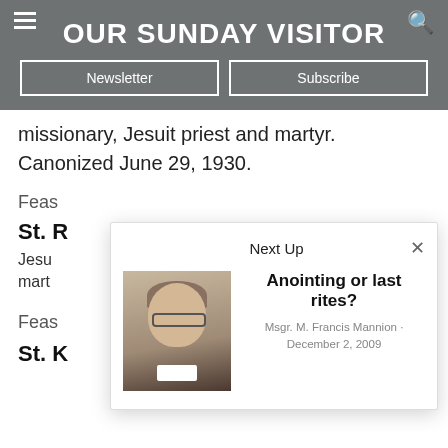OUR SUNDAY VISITOR
missionary, Jesuit priest and martyr. Canonized June 29, 1930.
Feast
St. R
Jesuit
mart
Feast
St. K
[Figure (photo): Next Up modal overlay showing a photo of Msgr. M. Francis Mannion with article title 'Anointing or last rites?' dated December 2, 2009]